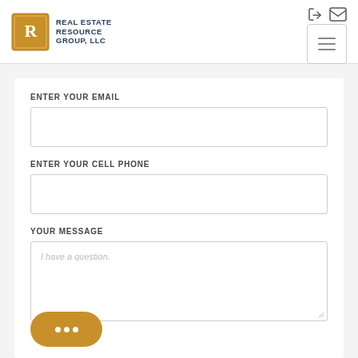[Figure (logo): Real Estate Resource Group LLC logo with ornate R emblem and stacked text]
ENTER YOUR EMAIL
ENTER YOUR CELL PHONE
YOUR MESSAGE
I have a question.